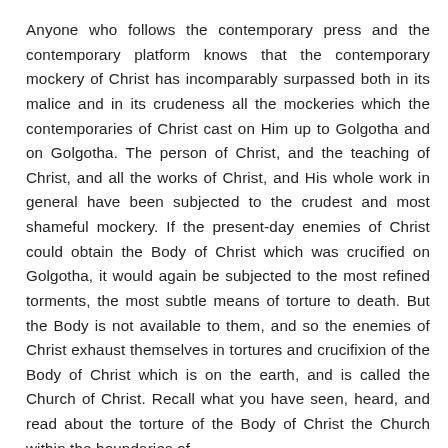Anyone who follows the contemporary press and the contemporary platform knows that the contemporary mockery of Christ has incomparably surpassed both in its malice and in its crudeness all the mockeries which the contemporaries of Christ cast on Him up to Golgotha and on Golgotha. The person of Christ, and the teaching of Christ, and all the works of Christ, and His whole work in general have been subjected to the crudest and most shameful mockery. If the present-day enemies of Christ could obtain the Body of Christ which was crucified on Golgotha, it would again be subjected to the most refined torments, the most subtle means of torture to death. But the Body is not available to them, and so the enemies of Christ exhaust themselves in tortures and crucifixion of the Body of Christ which is on the earth, and is called the Church of Christ. Recall what you have seen, heard, and read about the torture of the Body of Christ the Church within the boundaries of